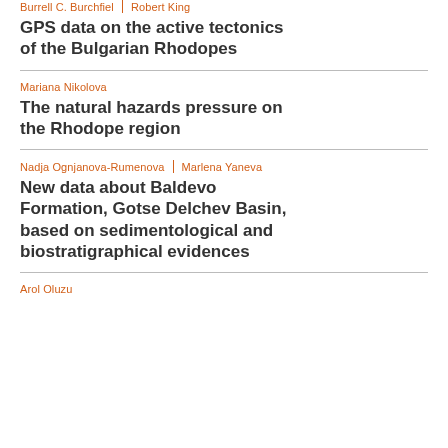Burrell C. Burchfiel | Robert King
GPS data on the active tectonics of the Bulgarian Rhodopes
Mariana Nikolova
The natural hazards pressure on the Rhodope region
Nadja Ognjanova-Rumenova | Marlena Yaneva
New data about Baldevo Formation, Gotse Delchev Basin, based on sedimentological and biostratigraphical evidences
Arol Oluzu